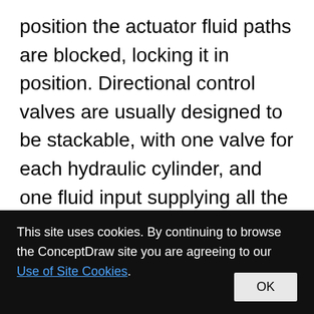position the actuator fluid paths are blocked, locking it in position. Directional control valves are usually designed to be stackable, with one valve for each hydraulic cylinder, and one fluid input supplying all the valves in the stack. Tolerances are very tight in order to handle the high pressure and avoid leaking, spools typically have a clearance with the housing of less than a thousandth of an inch (25 μm). The valve block will be mounted to the machine's
This site uses cookies. By continuing to browse the ConceptDraw site you are agreeing to our Use of Site Cookies.